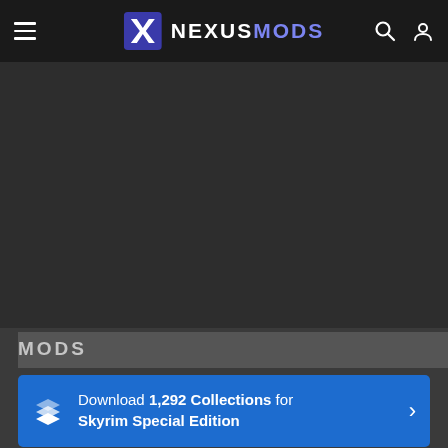NEXUSMODS
[Figure (screenshot): Dark hero/banner area below the navigation bar, no visible image content]
MODS
Download 1,292 Collections for Skyrim Special Edition